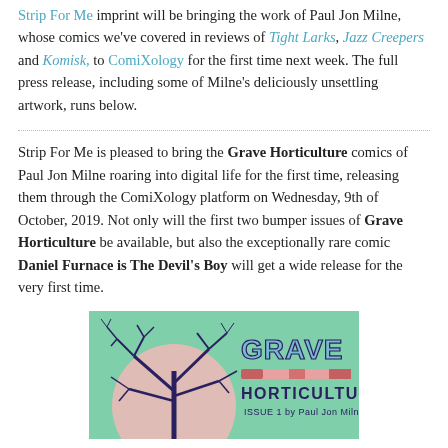Strip For Me imprint will be bringing the work of Paul Jon Milne, whose comics we've covered in reviews of Tight Larks, Jazz Creepers and Komisk, to ComiXology for the first time next week. The full press release, including some of Milne's deliciously unsettling artwork, runs below.
Strip For Me is pleased to bring the Grave Horticulture comics of Paul Jon Milne roaring into digital life for the first time, releasing them through the ComiXology platform on Wednesday, 9th of October, 2019. Not only will the first two bumper issues of Grave Horticulture be available, but also the exceptionally rare comic Daniel Furnace is The Devil's Boy will get a wide release for the very first time.
[Figure (illustration): Comic book cover illustration for Grave Horticulture Issue 1 by Paul Jon Milne. Green background with a large pink circle, bare dark tree branches on the left, and stylized graffiti-style lettering reading GRAVE HORTICULTURE ISSUE 1 by Paul Jon Milne on the right.]